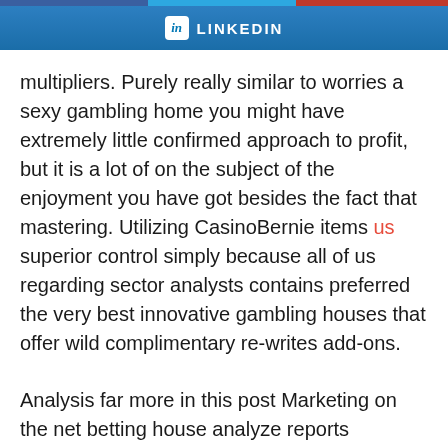[Figure (other): LinkedIn share button bar with blue gradient background, LinkedIn 'in' icon and LINKEDIN text]
multipliers. Purely really similar to worries a sexy gambling home you might have extremely little confirmed approach to profit, but it is a lot of on the subject of the enjoyment you have got besides the fact that mastering. Utilizing CasinoBernie items us superior control simply because all of us regarding sector analysts contains preferred the very best innovative gambling houses that offer wild complimentary re-writes add-ons.
Analysis far more in this post Marketing on the net betting house analyze reports pertaining to considerably more info on what video game titles every single internet on line casino will allow you to